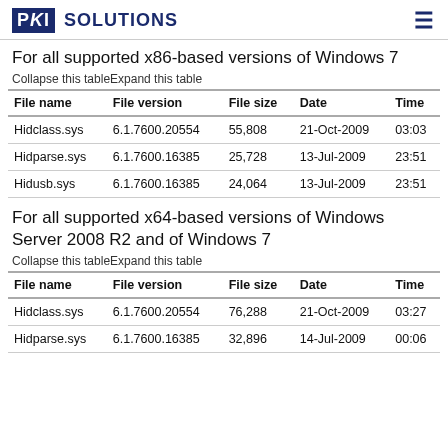PKI SOLUTIONS
For all supported x86-based versions of Windows 7
Collapse this tableExpand this table
| File name | File version | File size | Date | Time |
| --- | --- | --- | --- | --- |
| Hidclass.sys | 6.1.7600.20554 | 55,808 | 21-Oct-2009 | 03:03 |
| Hidparse.sys | 6.1.7600.16385 | 25,728 | 13-Jul-2009 | 23:51 |
| Hidusb.sys | 6.1.7600.16385 | 24,064 | 13-Jul-2009 | 23:51 |
For all supported x64-based versions of Windows Server 2008 R2 and of Windows 7
Collapse this tableExpand this table
| File name | File version | File size | Date | Time |
| --- | --- | --- | --- | --- |
| Hidclass.sys | 6.1.7600.20554 | 76,288 | 21-Oct-2009 | 03:27 |
| Hidparse.sys | 6.1.7600.16385 | 32,896 | 14-Jul-2009 | 00:06 |